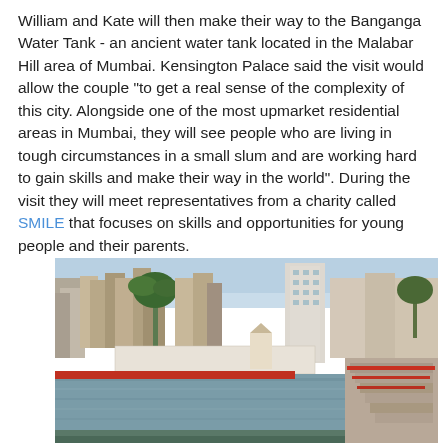William and Kate will then make their way to the Banganga Water Tank - an ancient water tank located in the Malabar Hill area of Mumbai. Kensington Palace said the visit would allow the couple "to get a real sense of the complexity of this city. Alongside one of the most upmarket residential areas in Mumbai, they will see people who are living in tough circumstances in a small slum and are working hard to gain skills and make their way in the world". During the visit they will meet representatives from a charity called SMILE that focuses on skills and opportunities for young people and their parents.
[Figure (photo): Photograph of the Banganga Water Tank in the Malabar Hill area of Mumbai, showing a large rectangular water tank with steps (ghats) leading down to it, surrounded by residential buildings, including multi-story apartments, older structures, and palm trees. The sky is clear and light blue.]